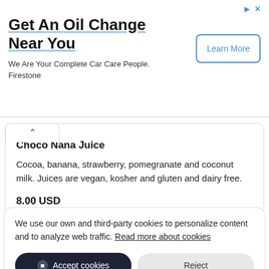[Figure (screenshot): Advertisement banner for Firestone oil change service with 'Learn More' button]
Get An Oil Change Near You
We Are Your Complete Car Care People. Firestone
Choco Nana Juice
Cocoa, banana, strawberry, pomegranate and coconut milk. Juices are vegan, kosher and gluten and dairy free.
8.00 USD
We use our own and third-party cookies to personalize content and to analyze web traffic. Read more about cookies
Accept cookies
Reject